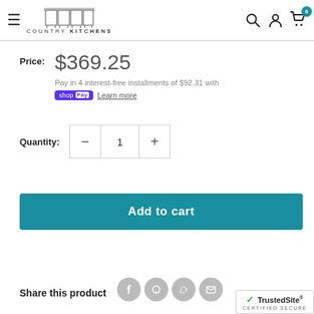Country Kitchens
Price: $369.25
Pay in 4 interest-free installments of $92.31 with shopPay Learn more
Quantity: 1
Add to cart
Share this product
[Figure (logo): TrustedSite Certified Secure badge]